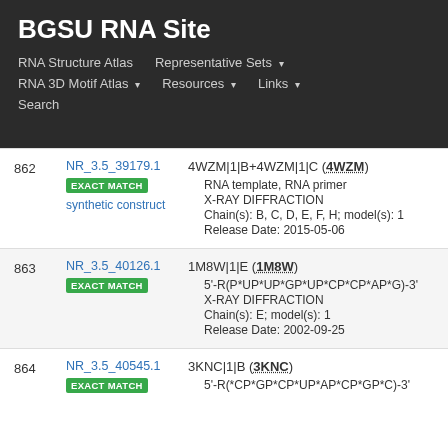BGSU RNA Site
RNA Structure Atlas | Representative Sets ▾ | RNA 3D Motif Atlas ▾ | Resources ▾ | Links ▾ | Search
| # | ID / Match / Organism | Entry Details |
| --- | --- | --- |
| 862 | NR_3.5_39179.1 | EXACT MATCH | synthetic construct | 4WZM|1|B+4WZM|1|C (4WZM) • RNA template, RNA primer • X-RAY DIFFRACTION • Chain(s): B, C, D, E, F, H; model(s): 1 • Release Date: 2015-05-06 |
| 863 | NR_3.5_40126.1 | EXACT MATCH | 1M8W|1|E (1M8W) • 5'-R(P*UP*UP*GP*UP*CP*CP*AP*G)-3' • X-RAY DIFFRACTION • Chain(s): E; model(s): 1 • Release Date: 2002-09-25 |
| 864 | NR_3.5_40545.1 | EXACT MATCH | 3KNC|1|B (3KNC) • 5'-R(*CP*GP*CP*UP*AP*CP*GP*C)-3' |